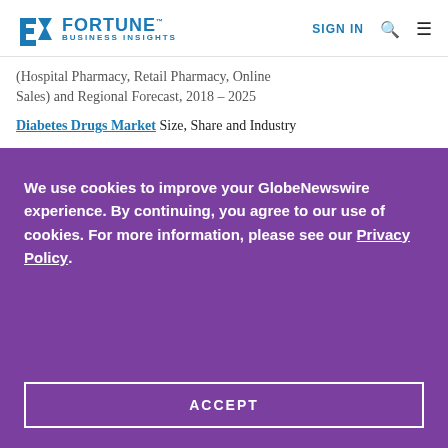FORTUNE BUSINESS INSIGHTS | SIGN IN
(Hospital Pharmacy, Retail Pharmacy, Online Sales) and Regional Forecast, 2018 – 2025
Diabetes Drugs Market Size, Share and Industry
We use cookies to improve your GlobeNewswire experience. By continuing, you agree to our use of cookies. For more information, please see our Privacy Policy.
ACCEPT